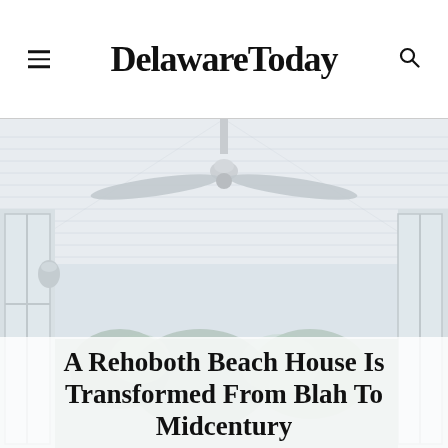DelawareToday
[Figure (photo): Interior photo of a porch or sunroom with white beadboard ceiling, ceiling fan with three blades, white framed windows, and a wall-mounted barn light fixture on the left side. Bright, airy beach house aesthetic.]
A Rehoboth Beach House Is Transformed From Blah To Midcentury